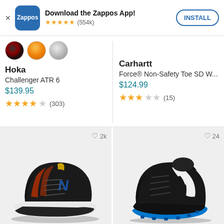[Figure (screenshot): Zappos app download banner with app icon, star rating (554k reviews), and INSTALL button]
[Figure (illustration): Three color swatches for Hoka shoe: dark red/black, orange basketball-like, silver/gray]
Hoka
Challenger ATR 6
$139.95
★★★★☆ (303)
Carhartt
Force® Non-Safety Toe SD W...
$124.99
★★★☆☆ (15)
[Figure (photo): Black New Balance athletic shoe with blue N logo and white sole, wishlist count 2k]
[Figure (photo): Black Adidas soccer cleat with white stripes and blue sole, wishlist count 24]